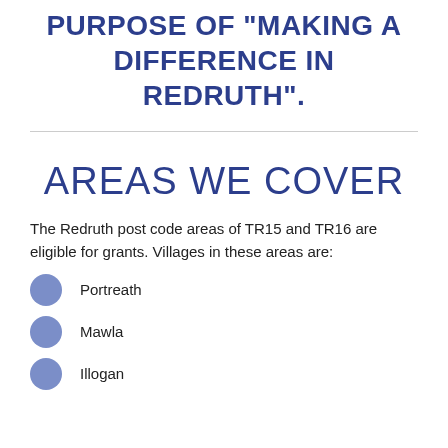PURPOSE OF “MAKING A DIFFERENCE IN REDRUTH”.
AREAS WE COVER
The Redruth post code areas of TR15 and TR16 are eligible for grants. Villages in these areas are:
Portreath
Mawla
Illogan